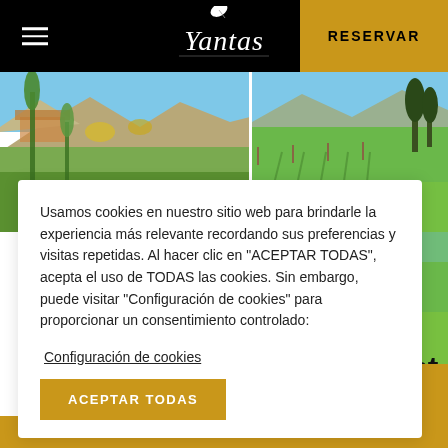Yantas | RESERVAR
[Figure (photo): Two photos side by side: left shows garden/plant scene with mountains, right shows vineyard with green cover crop rows]
Usamos cookies en nuestro sitio web para brindarle la experiencia más relevante recordando sus preferencias y visitas repetidas. Al hacer clic en "ACEPTAR TODAS", acepta el uso de TODAS las cookies. Sin embargo, puede visitar "Configuración de cookies" para proporcionar un consentimiento controlado:
Configuración de cookies
ACEPTAR TODAS
a different